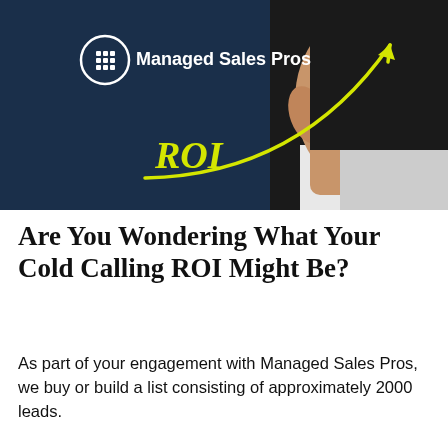[Figure (illustration): Dark navy blue background image showing a person's hand drawing a yellow upward-curving arrow/line labeled 'ROI', with the Managed Sales Pros logo (grid icon and white text) in the upper left corner.]
Are You Wondering What Your Cold Calling ROI Might Be?
As part of your engagement with Managed Sales Pros, we buy or build a list consisting of approximately 2000 leads.